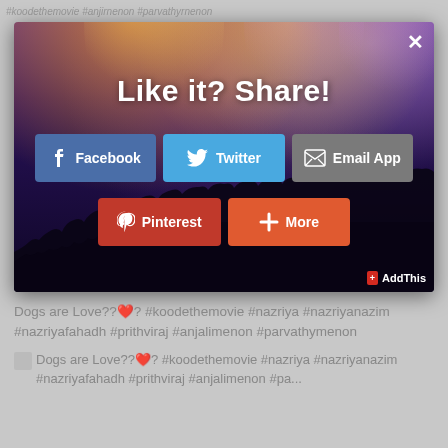#koodethemovie #anjirnenon #parvathyrnenon
[Figure (screenshot): Share dialog modal overlay on a concert photo background with title 'Like it? Share!' and social sharing buttons: Facebook, Twitter, Email App, Pinterest, More, and AddThis branding]
Like it? Share!
Dogs are Love??❤️? #koodethemovie #nazriya #nazriyanazim #nazriyafahadh #prithviraj #anjalimenon #parvathymenon
Dogs are Love??❤️? #koodethemovie #nazriya #nazriyanazim #nazriyafahadh #prithviraj #anjalimenon #pa...